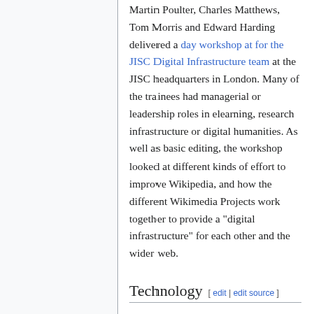Martin Poulter, Charles Matthews, Tom Morris and Edward Harding delivered a day workshop at for the JISC Digital Infrastructure team at the JISC headquarters in London. Many of the trainees had managerial or leadership roles in elearning, research infrastructure or digital humanities. As well as basic editing, the workshop looked at different kinds of effort to improve Wikipedia, and how the different Wikimedia Projects work together to provide a "digital infrastructure" for each other and the wider web.
Technology
Other activities
13 - Fæ addressed the Central and Eastern Europe Wikimedia